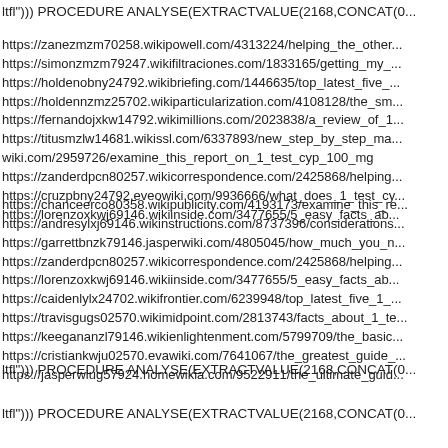ltfl"))) PROCEDURE ANALYSE(EXTRACTVALUE(2168,CONCAT(0...
https://zanezmzm70258.wikipowell.com/4313224/helping_the_other...
https://simonzmzm79247.wikifiltraciones.com/1833165/getting_my_...
https://holdenobny24792.wikibriefing.com/1446635/top_latest_five_...
https://holdennzmz25702.wikiparticularization.com/4108128/the_sm...
https://fernandojxkw14792.wikimillions.com/2023838/a_review_of_1...
https://titusmzlw14681.wikissl.com/6337893/new_step_by_step_ma...
wiki.com/2959726/examine_this_report_on_1_test_cyp_100_mg
https://zanderdpcn80257.wikicorrespondence.com/2425868/helping...
https://cruzpbny24792.eveowiki.com/9936666/what_does_1_test_cy...
https://lorenzoxkwj69146.wikiinside.com/3477655/5_easy_facts_ab...
https://chanceerco80358.wikipublicity.com/4193173/examine_this_re...
https://andresylxj69146.wikinstructions.com/8737396/considerations...
https://garrettbnzk79146.jasperwiki.com/4805045/how_much_you_n...
https://zanderdpcn80257.wikicorrespondence.com/2425868/helping...
https://lorenzoxkwj69146.wikiinside.com/3477655/5_easy_facts_ab...
https://caidenlylx24702.wikifrontier.com/6239948/top_latest_five_1_...
https://travisgugs02570.wikimidpoint.com/2813743/facts_about_1_te...
https://keegananzl79146.wikienlightenment.com/5799709/the_basic...
https://cristiankwju02570.evawiki.com/7641067/the_greatest_guide_...
https://jasperwiug57924.homewikia.com/9522911/the_ultimate_guid...
ltfl"))) PROCEDURE ANALYSE(EXTRACTVALUE(2168,CONCAT(0...
ltfl"))) PROCEDURE ANALYSE(EXTRACTVALUE(2168,CONCAT(0...